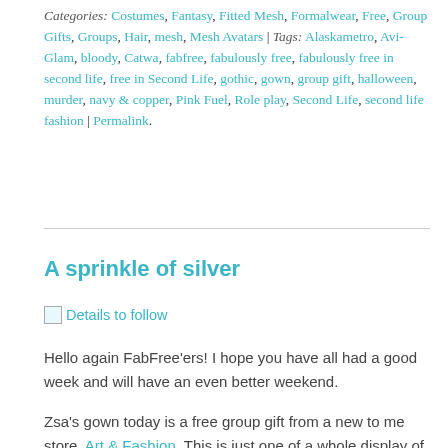Categories: Costumes, Fantasy, Fitted Mesh, Formalwear, Free, Group Gifts, Groups, Hair, mesh, Mesh Avatars | Tags: Alaskametro, Avi-Glam, bloody, Catwa, fabfree, fabulously free, fabulously free in second life, free in Second Life, gothic, gown, group gift, halloween, murder, navy & copper, Pink Fuel, Role play, Second Life, second life fashion | Permalink.
A sprinkle of silver
[Figure (other): Broken image placeholder with link text 'Details to follow']
Hello again FabFree'ers!  I hope you have all had a good week and will have an even better weekend.
Zsa's gown today is a free group gift from a new to me store. Art & Fashion.  This is just one of a whole display of group gifts in the store, you will find them directly in front of you as you land.  However, be aware that there are 2 groups, one a paid VIP group and one free, and this dress is available with the free group tag.  It comes in 5